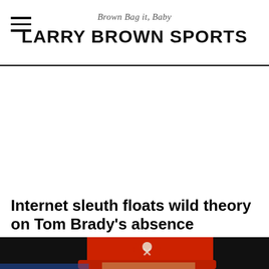Brown Bag it, Baby
LARRY BROWN SPORTS
[Figure (photo): Partial photo of a person wearing a red Tampa Bay Buccaneers cap with skull and crossbones logo, against a dark background]
Internet sleuth floats wild theory on Tom Brady's absence